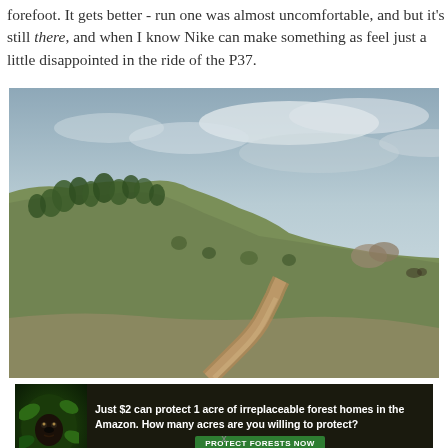forefoot. It gets better - run one was almost uncomfortable, and but it's still there, and when I know Nike can make something as feel just a little disappointed in the ride of the P37.
[Figure (photo): Outdoor trail photo showing a winding dirt path through open grassland with a hillside covered in scrub trees on the left, under a dramatic overcast sky with grey clouds]
[Figure (photo): Advertisement banner: dark background with gorilla image on left; text reads 'Just $2 can protect 1 acre of irreplaceable forest homes in the Amazon. How many acres are you willing to protect?' with a green 'PROTECT FORESTS NOW' button]